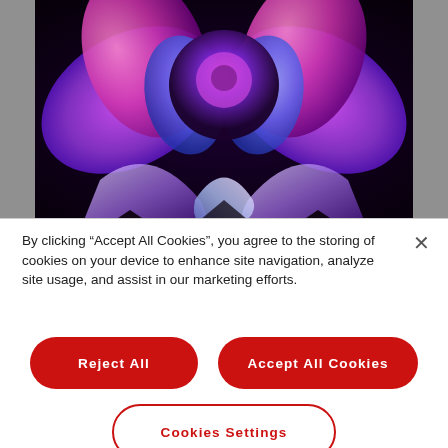[Figure (illustration): Abstract 3D digital art featuring a flower-like structure with glossy purple, pink, blue and magenta petals/ribbons on a dark/black background]
By clicking “Accept All Cookies”, you agree to the storing of cookies on your device to enhance site navigation, analyze site usage, and assist in our marketing efforts.
Reject All
Accept All Cookies
Cookies Settings